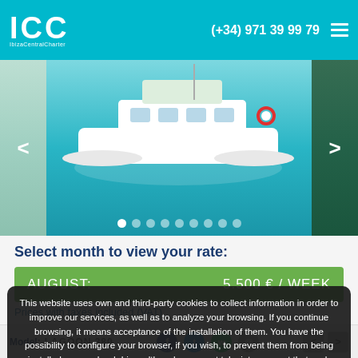ICC IbizaCentralCharter (+34) 971 39 99 79
[Figure (photo): Aerial view of a white catamaran sailing boat on turquoise water, with people visible near the boat. Image carousel with navigation arrows on left and right, and 9 pagination dots at bottom.]
Select month to view your rate:
AUGUST: 5.500 € / WEEK
Prices with taxes included (VAT)
This website uses own and third-party cookies to collect information in order to improve our services, as well as to analyze your browsing. If you continue browsing, it means acceptance of the installation of them. You have the possibility to configure your browser, if you wish, to prevent them from being installed on your hard drive, although you must take into account that such action may cause navigation difficulties on the website.
Accept | How to configure
Model: LAGOON 380